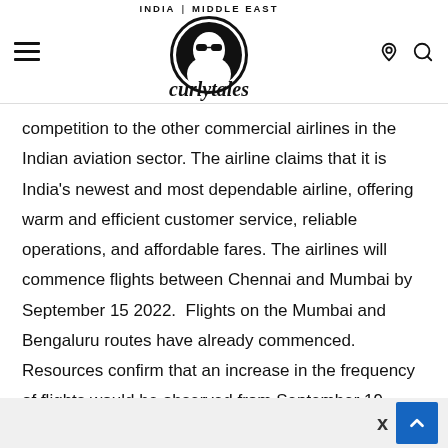Curly Tales — INDIA | MIDDLE EAST
competition to the other commercial airlines in the Indian aviation sector. The airline claims that it is India's newest and most dependable airline, offering warm and efficient customer service, reliable operations, and affordable fares. The airlines will commence flights between Chennai and Mumbai by September 15 2022.  Flights on the Mumbai and Bengaluru routes have already commenced. Resources confirm that an increase in the frequency of flights would be observed from September 19, 2022.
Also Read - Will The Launch Of Akasa Air Bring Down Domestic Air Fare?
India's New Airlines Receives Good Reviews